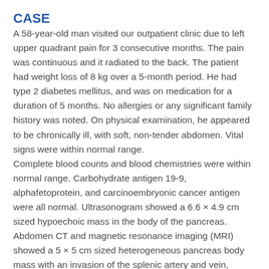CASE
A 58-year-old man visited our outpatient clinic due to left upper quadrant pain for 3 consecutive months. The pain was continuous and it radiated to the back. The patient had weight loss of 8 kg over a 5-month period. He had type 2 diabetes mellitus, and was on medication for a duration of 5 months. No allergies or any significant family history was noted. On physical examination, he appeared to be chronically ill, with soft, non-tender abdomen. Vital signs were within normal range.
Complete blood counts and blood chemistries were within normal range. Carbohydrate antigen 19-9, alphafetoprotein, and carcinoembryonic cancer antigen were all normal. Ultrasonogram showed a 6.6 × 4.9 cm sized hypoechoic mass in the body of the pancreas. Abdomen CT and magnetic resonance imaging (MRI) showed a 5 × 5 cm sized heterogeneous pancreas body mass with an invasion of the splenic artery and vein, abutting the common hepatic artery and portal vein (Fig. 1). There were a few enlarged lymph nodes